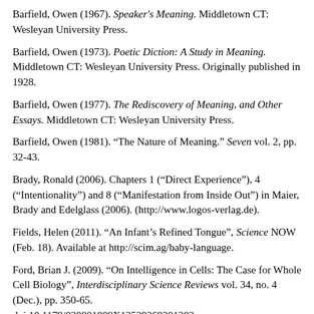Barfield, Owen (1967). Speaker's Meaning. Middletown CT: Wesleyan University Press.
Barfield, Owen (1973). Poetic Diction: A Study in Meaning. Middletown CT: Wesleyan University Press. Originally published in 1928.
Barfield, Owen (1977). The Rediscovery of Meaning, and Other Essays. Middletown CT: Wesleyan University Press.
Barfield, Owen (1981). “The Nature of Meaning.” Seven vol. 2, pp. 32-43.
Brady, Ronald (2006). Chapters 1 (“Direct Experience”), 4 (“Intentionality”) and 8 (“Manifestation from Inside Out”) in Maier, Brady and Edelglass (2006). (http://www.logos-verlag.de).
Fields, Helen (2011). “An Infant’s Refined Tongue”, Science NOW (Feb. 18). Available at http://scim.ag/baby-language.
Ford, Brian J. (2009). “On Intelligence in Cells: The Case for Whole Cell Biology”, Interdisciplinary Science Reviews vol. 34, no. 4 (Dec.), pp. 350-65. doi:10.1179/030801809X12529269201282
Hayden, Erika Check (2010). “Life is Complicated,” Nature vol.